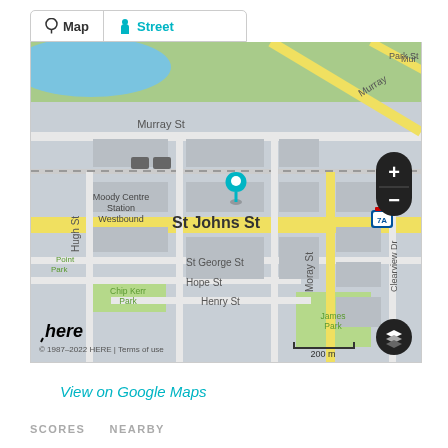[Figure (screenshot): Map and Street tab selector, with Map tab active (dark pin icon, text 'Map') and Street tab in teal (person icon, text 'Street')]
[Figure (map): HERE map showing Port Moody area around St Johns St. Visible streets: Murray St, St Johns St (main yellow road), St George St, Hope St, Henry St, Hugh St, Moray St, Clearview Dr, Park St. Landmarks: Moody Centre Station Westbound, Chip Kerr Park, James Park, Point Park (blue water). Blue location pin on St Johns St. Zoom controls and layer button on right side. Scale bar: 200 m. Route 7A shield visible.]
View on Google Maps
SCORES   NEARBY